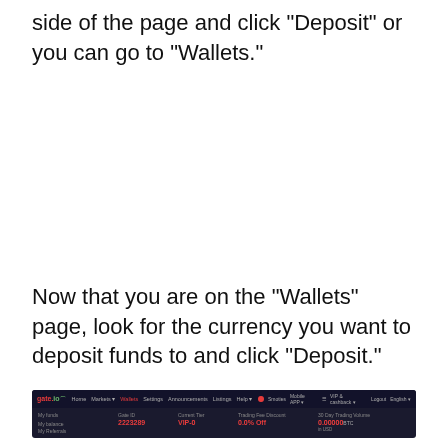side of the page and click “Deposit” or you can go to “Wallets.”
Now that you are on the “Wallets” page, look for the currency you want to deposit funds to and click “Deposit.”
[Figure (screenshot): Screenshot of gate.io Wallets page showing navigation bar and account info with Gate ID: 2223289, Current Tier: VIP-0, Trading Fee Discount: 0.0% Off, 30-Day Trading Volume: 0.00000 BTC in USD]